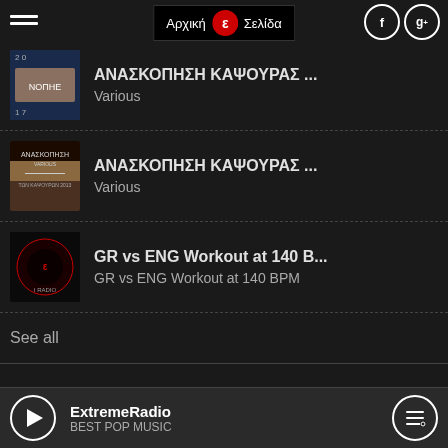ΛΑΜΠΟ FM — Αρχική Σελίδα
ΑΝΑΣΚΟΠΗΣΗ ΚΑΨΟΥΡΑΣ ...
Various
ΑΝΑΣΚΟΠΗΣΗ ΚΑΨΟΥΡΑΣ ...
Various
GR vs ENG Workout at 140 B...
GR vs ENG Workout at 140 BPM
See all
ΚΑΛΛΙΤΕΧΝΕΣ
Πάνος Κιάμος
ExtremeRadio
BEST POP MUSIC